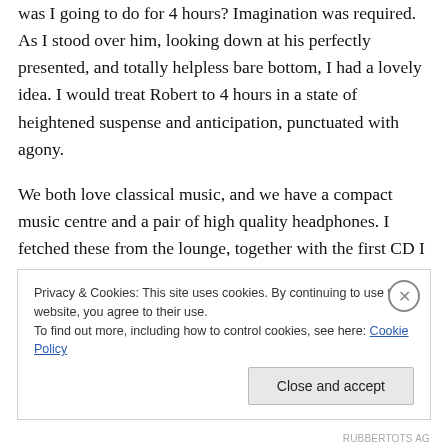was I going to do for 4 hours? Imagination was required. As I stood over him, looking down at his perfectly presented, and totally helpless bare bottom, I had a lovely idea. I would treat Robert to 4 hours in a state of heightened suspense and anticipation, punctuated with agony.
We both love classical music, and we have a compact music centre and a pair of high quality headphones. I fetched these from the lounge, together with the first CD I would treat him to: Ravel's ‘Bolero’. I also fetched the
Privacy & Cookies: This site uses cookies. By continuing to use this website, you agree to their use.
To find out more, including how to control cookies, see here: Cookie Policy
Close and accept
RUBBERTOTS AG